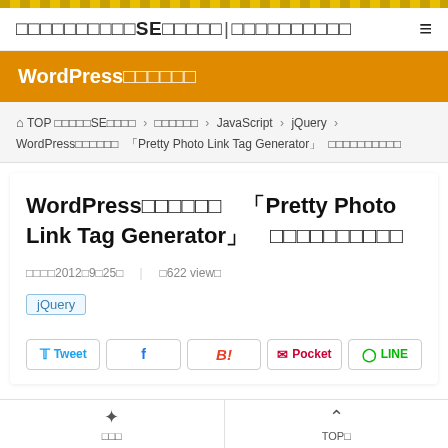□□□□□□□□□□SE□□□□□|□□□□□□□□□□
WordPress□□□□□□
⌂ TOP □□□□□SE□□□□ > □□□□□□ > JavaScript > jQuery > WordPress□□□□□□ 「Pretty Photo Link Tag Generator」 □□□□□□□□□□
WordPress□□□□□□ 「Pretty Photo Link Tag Generator」 □□□□□□□□□□
□□□□2012□9□25□ | □622 view□
jQuery
Tweet | (Facebook) | B! | Pocket | LINE